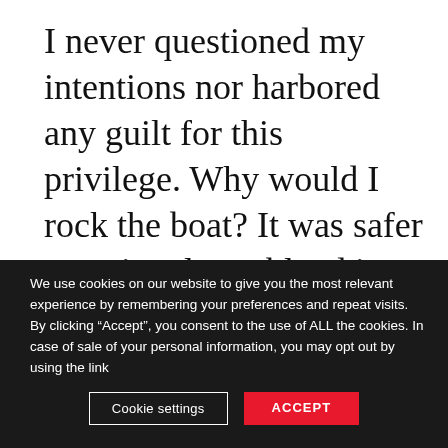I never questioned my intentions nor harbored any guilt for this privilege. Why would I rock the boat? It was safer to swim along, blend in, and not to make any noise.
We use cookies on our website to give you the most relevant experience by remembering your preferences and repeat visits. By clicking “Accept”, you consent to the use of ALL the cookies. In case of sale of your personal information, you may opt out by using the link
Cookie settings
ACCEPT